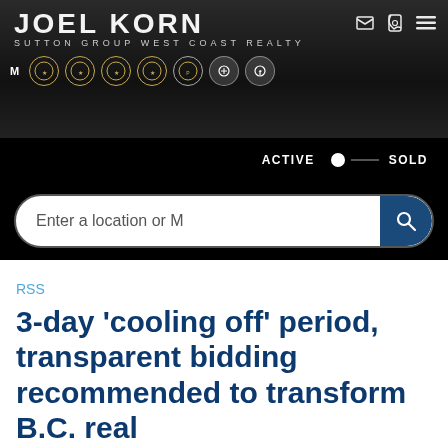[Figure (screenshot): Joel Korn Sutton Group West Coast Realty website header with logo, award badges, navigation icons, active/sold toggle, and search bar]
RSS
3-day 'cooling off' period, transparent bidding recommended to transform B.C. real